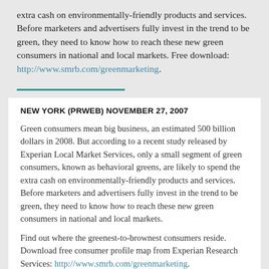extra cash on environmentally-friendly products and services. Before marketers and advertisers fully invest in the trend to be green, they need to know how to reach these new green consumers in national and local markets. Free download: http://www.smrb.com/greenmarketing.
NEW YORK (PRWEB) NOVEMBER 27, 2007
Green consumers mean big business, an estimated 500 billion dollars in 2008. But according to a recent study released by Experian Local Market Services, only a small segment of green consumers, known as behavioral greens, are likely to spend the extra cash on environmentally-friendly products and services. Before marketers and advertisers fully invest in the trend to be green, they need to know how to reach these new green consumers in national and local markets.
Find out where the greenest-to-brownest consumers reside. Download free consumer profile map from Experian Research Services: http://www.smrb.com/greenmarketing.
Chris Wilson, president of Experian Research Services, explains that mass marketing may not be the best option for companies that want to reach green consumers in local markets.